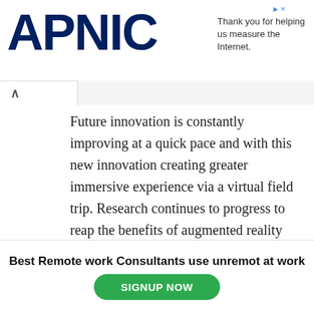APNIC — Thank you for helping us measure the Internet.
Future innovation is constantly improving at a quick pace and with this new innovation creating greater immersive experience via a virtual field trip. Research continues to progress to reap the benefits of augmented reality coupled with virtual experiences. The idea of hands-on work is quickly changing because of new advances in technology making the entire process more seamless, simple, and affordable. The gap between the virtual and reality is slowly bridging up with utmost precision
Best Remote work Consultants use unremot at work
SIGNUP NOW